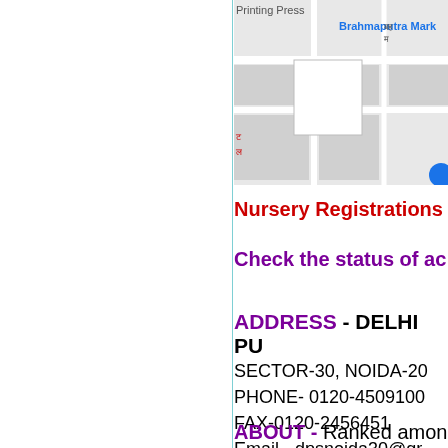[Figure (map): Google Maps screenshot showing Brahmaputra Market area with a marker/thumbnail, showing Hindi text and street labels]
Nursery Registrations
Check the status of ac
ADDRESS - DELHI PU
SECTOR-30, NOIDA-20
PHONE- 0120-4509100
FAX-0120-2456451
Email - dpsnoida30@gr
ABOUT - Ranked amon 1982, very good school